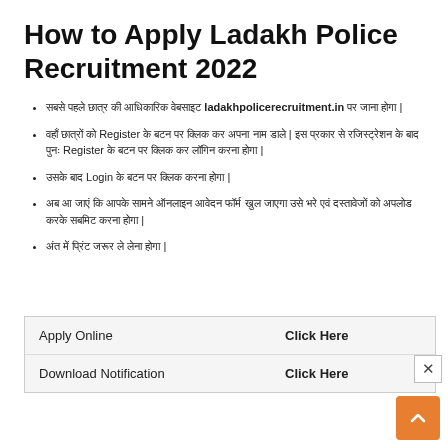How to Apply Ladakh Police Recruitment 2022
सबसे पहले छात्र की आधिकारिक वेबसाइट ladakhpolicerecruitment.in पर जाना होगा |
वहाँ छात्रों को Register के बटन पर क्लिक कर अपना नाम डाले | इस प्रकार से रजिस्ट्रेशन के बाद पुनः Register के बटन पर क्लिक कर लॉगिन करना होगा |
उसके बाद Login के बटन पर क्लिक करना होगा |
अब आ जाएं कि आपके सामने ऑनलाइन आवेदन फॉर्म खुल जाएगा उसे भरे एवं दस्तावेजों को अपलोड करके सबमिट करना होगा |
अंत में प्रिंट जरूर ले लेना होगा |
|  |  |
| --- | --- |
| Apply Online | Click Here |
| Download Notification | Click Here |